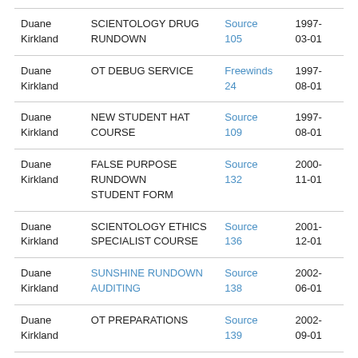| Name | Course | Source | Date |
| --- | --- | --- | --- |
| Duane Kirkland | SCIENTOLOGY DRUG RUNDOWN | Source 105 | 1997-03-01 |
| Duane Kirkland | OT DEBUG SERVICE | Freewinds 24 | 1997-08-01 |
| Duane Kirkland | NEW STUDENT HAT COURSE | Source 109 | 1997-08-01 |
| Duane Kirkland | FALSE PURPOSE RUNDOWN STUDENT FORM | Source 132 | 2000-11-01 |
| Duane Kirkland | SCIENTOLOGY ETHICS SPECIALIST COURSE | Source 136 | 2001-12-01 |
| Duane Kirkland | SUNSHINE RUNDOWN AUDITING | Source 138 | 2002-06-01 |
| Duane Kirkland | OT PREPARATIONS | Source 139 | 2002-09-01 |
| Duane Kirkland | ABILITY CONGRESS COURSE | Freewinds 47 | 2002-09-01 |